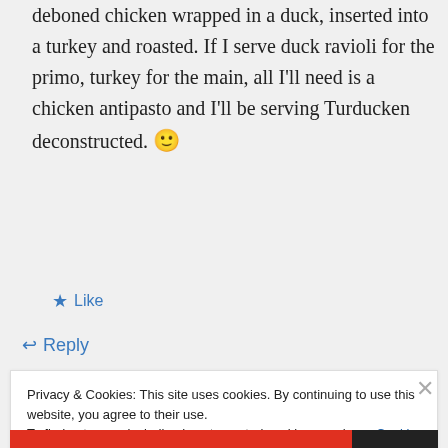deboned chicken wrapped in a duck, inserted into a turkey and roasted. If I serve duck ravioli for the primo, turkey for the main, all I'll need is a chicken antipasto and I'll be serving Turducken deconstructed. 🙂
★ Like
↩ Reply
Privacy & Cookies: This site uses cookies. By continuing to use this website, you agree to their use.
To find out more, including how to control cookies, see here: Cookie Policy
Close and accept